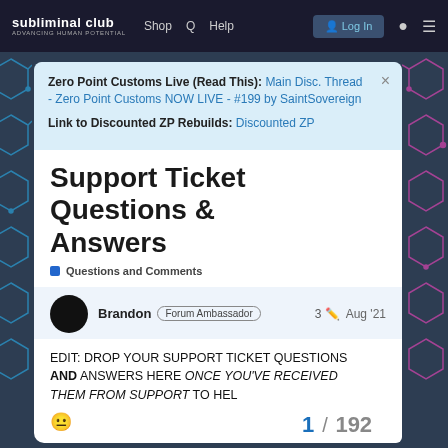subliminal club ADVANCING HUMAN POTENTIAL | Shop | Q | Help | Log In
Zero Point Customs Live (Read This): Main Disc. Thread - Zero Point Customs NOW LIVE - #199 by SaintSovereign
Link to Discounted ZP Rebuilds: Discounted ZP
Support Ticket Questions & Answers
Questions and Comments
Brandon Forum Ambassador  3  Aug '21
EDIT: DROP YOUR SUPPORT TICKET QUESTIONS AND ANSWERS HERE ONCE YOU'VE RECEIVED THEM FROM SUPPORT TO HEL